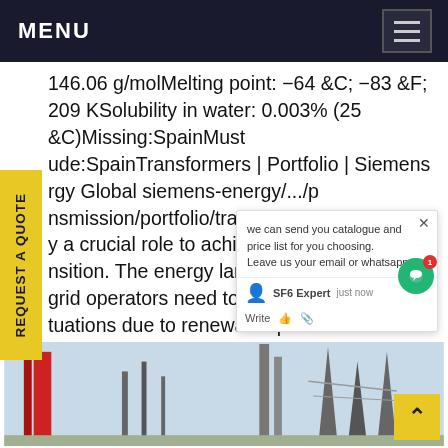MENU
146.06 g/molMelting point: -64 &C; -83 &F; 209 KSolubility in water: 0.003% (25 &C)Missing:SpainMust ude:SpainTransformers | Portfolio | Siemens Energy Global siemens-energy/.../p nsmission/portfolio/transformer forme y a crucial role to achieve a succ ly nsition. The energy landscape is c idly, grid operators need to resp ower tuations due to renewable powe . We rted early to develop technologies that are ively shaping the path to a climate-friendly re.Get price
[Figure (photo): Industrial/electrical infrastructure scene with towers and transmission equipment against a light sky background]